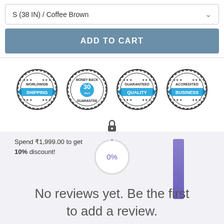S (38 IN) / Coffee Brown
ADD TO CART
[Figure (infographic): Four trust badge seals: Worldwide Shipping, Money Back Guarantee (30 days), Guaranteed Quality, Accredited Business]
Spend ₹1,999.00 to get 10% discount!
[Figure (infographic): Circular progress indicator showing 0% with a lock icon above and a purple vertical bar to the right]
No reviews yet. Be the first to add a review.